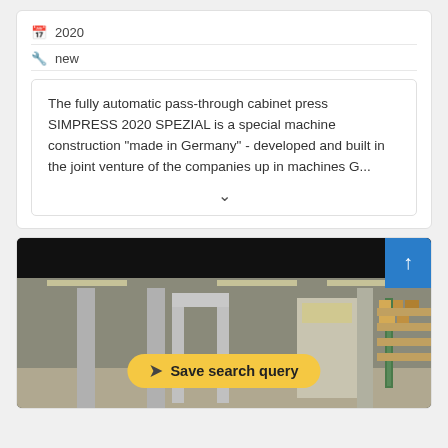2020
new
The fully automatic pass-through cabinet press SIMPRESS 2020 SPEZIAL is a special machine construction "made in Germany" - developed and built in the joint venture of the companies up in machines G...
[Figure (photo): Factory interior showing industrial machinery (cabinet press), with yellow 'Save search query' button overlay and blue scroll-up button]
Save search query